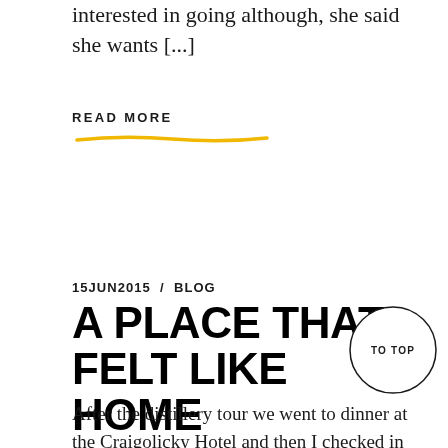interested in going although, she said she wants [...]
READ MORE
15JUN2015 / BLOG
A PLACE THAT FELT LIKE HOME
[Figure (other): TO TOP circular button with circle border]
After the distillery tour we went to dinner at the Craigolicky Hotel and then I checked in to the Ugie House in Keith for the night. It